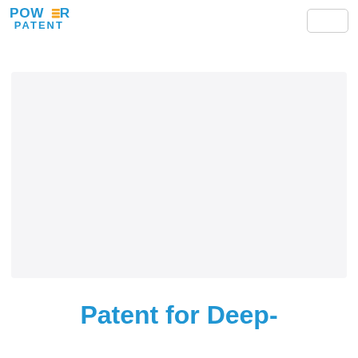POWER PATENT logo and navigation menu
[Figure (other): Large light gray placeholder/hero image area for Power Patent website]
Patent for Deep-